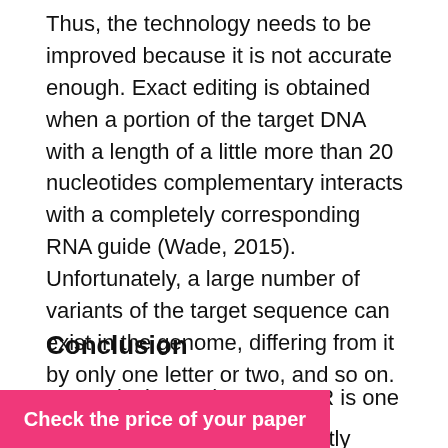Thus, the technology needs to be improved because it is not accurate enough. Exact editing is obtained when a portion of the target DNA with a length of a little more than 20 nucleotides complementary interacts with a completely corresponding RNA guide (Wade, 2015). Unfortunately, a large number of variants of the target sequence can exist in the genome, differing from it by only one letter or two, and so on. Each of these variant targets interacts worse than a perfectly suitable target. However, since there are many such sequences, it is complicated to avoid incorrect recognition. Scientists need to improve the specificity of the Cas9 protein and choose guides very carefully.
Conclusion
In conclusion, today, CRISPR is one of the most ... young people, ... CRISPR